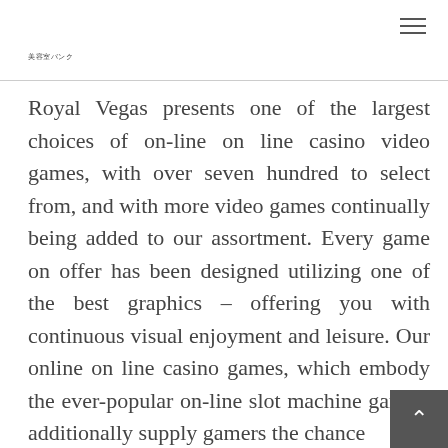美容室バンク
Royal Vegas presents one of the largest choices of on-line on line casino video games, with over seven hundred to select from, and with more video games continually being added to our assortment. Every game on offer has been designed utilizing one of the best graphics – offering you with continuous visual enjoyment and leisure. Our online on line casino games, which embody the ever-popular on-line slot machine games, additionally supply gamers the chance